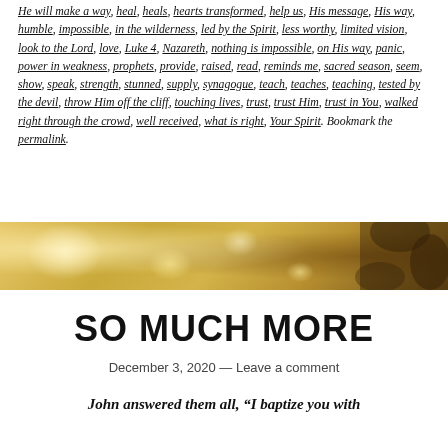He will make a way, heal, heals, hearts transformed, help us, His message, His way, humble, impossible, in the wilderness, led by the Spirit, less worthy, limited vision, look to the Lord, love, Luke 4, Nazareth, nothing is impossible, on His way, panic, power in weakness, prophets, provide, raised, read, reminds me, sacred season, seem, show, speak, strength, stunned, supply, synagogue, teach, teaches, teaching, tested by the devil, throw Him off the cliff, touching lives, trust, trust Him, trust in You, walked right through the crowd, well received, what is right, Your Spirit. Bookmark the permalink.
[Figure (photo): Golden bokeh banner image with warm amber/golden tones and blurred light orbs, darker foliage visible on the right side]
SO MUCH MORE
December 3, 2020 — Leave a comment
John answered them all, “I baptize you with